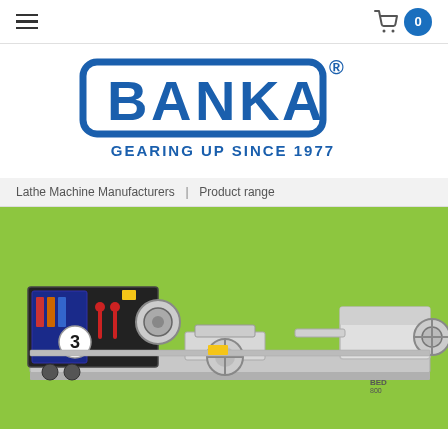Navigation bar with hamburger menu and cart icon showing 0
[Figure (logo): BANKA logo with text GEARING UP SINCE 1977]
Lathe Machine Manufacturers  |  Product range
[Figure (photo): Photo of a BANKA lathe machine on a green background]